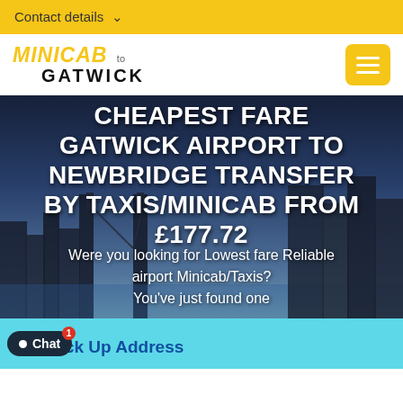Contact details ∨
MINICAB to GATWICK
[Figure (photo): London city skyline / Tower Bridge background photo used as hero banner behind the headline text]
CHEAPEST FARE GATWICK AIRPORT TO NEWBRIDGE TRANSFER BY TAXIS/MINICAB FROM £177.72
Were you looking for Lowest fare Reliable airport Minicab/Taxis? You've just found one
Pick Up Address
Chat (notification: 1)